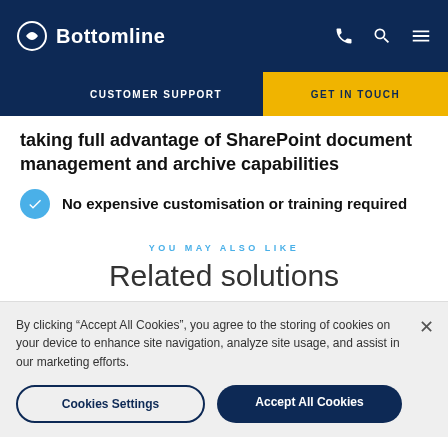Bottomline — CUSTOMER SUPPORT | GET IN TOUCH
taking full advantage of SharePoint document management and archive capabilities
No expensive customisation or training required
YOU MAY ALSO LIKE
Related solutions
By clicking "Accept All Cookies", you agree to the storing of cookies on your device to enhance site navigation, analyze site usage, and assist in our marketing efforts.
Cookies Settings | Accept All Cookies